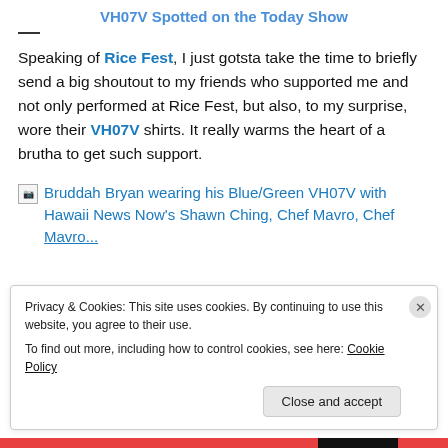VH07V Spotted on the Today Show
Speaking of Rice Fest, I just gotsta take the time to briefly send a big shoutout to my friends who supported me and not only performed at Rice Fest, but also, to my surprise, wore their VH07V shirts. It really warms the heart of a brutha to get such support.
Bruddah Bryan wearing his Blue/Green VH07V with Hawaii News Now's Shawn Ching, Chef Mavro, Chef Mavro...
Privacy & Cookies: This site uses cookies. By continuing to use this website, you agree to their use.
To find out more, including how to control cookies, see here: Cookie Policy